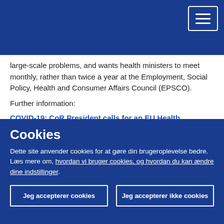large-scale problems, and wants health ministers to meet monthly, rather than twice a year at the Employment, Social Policy, Health and Consumer Affairs Council (EPSCO).
Further information:
COVID-19: CoR President calls for an EU Health Emergency Mechanism to support regions and cities
Contact:
Wioletta Wojewodzka
Cookies
Dette site anvender cookies for at gøre din brugeroplevelse bedre. Læs mere om, hvordan vi bruger cookies, og hvordan du kan ændre dine indstillinger.
Jeg accepterer cookies
Jeg accepterer ikke cookies